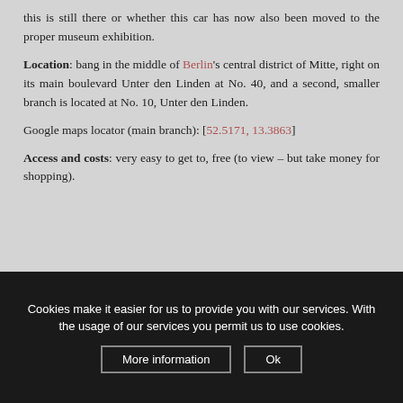this is still there or whether this car has now also been moved to the proper museum exhibition.
Location: bang in the middle of Berlin's central district of Mitte, right on its main boulevard Unter den Linden at No. 40, and a second, smaller branch is located at No. 10, Unter den Linden.
Google maps locator (main branch): [52.5171, 13.3863]
Access and costs: very easy to get to, free (to view – but take money for shopping).
Cookies make it easier for us to provide you with our services. With the usage of our services you permit us to use cookies.